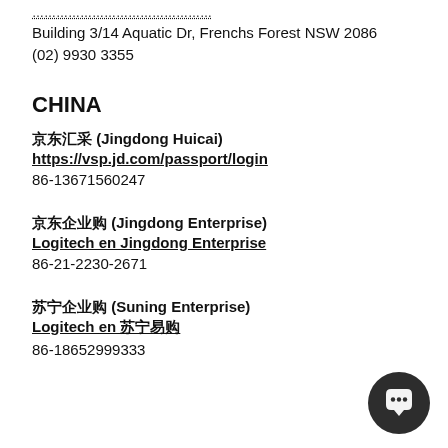Building 3/14 Aquatic Dr, Frenchs Forest NSW 2086
(02) 9930 3355
CHINA
京东汇采 (Jingdong Huicai)
https://vsp.jd.com/passport/login
86-13671560247
京东企业购 (Jingdong Enterprise)
Logitech en Jingdong Enterprise
86-21-2230-2671
苏宁企业购 (Suning Enterprise)
Logitech en 苏宁易购
86-18652999333
[Figure (illustration): Dark circular chat/message icon button in the bottom right corner]